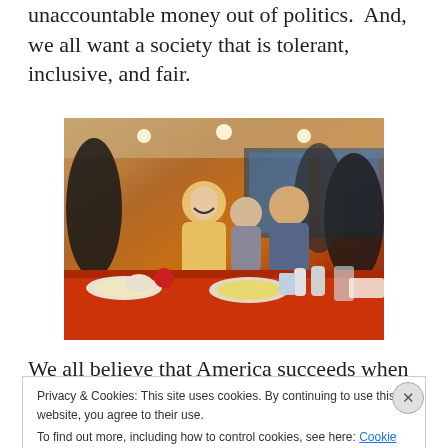unaccountable money out of politics.  And, we all want a society that is tolerant, inclusive, and fair.
[Figure (photo): A woman in a yellow outfit laughing and interacting with people at a diner with a red table, food visible in foreground.]
We all believe that America succeeds when more people
Privacy & Cookies: This site uses cookies. By continuing to use this website, you agree to their use.
To find out more, including how to control cookies, see here: Cookie Policy